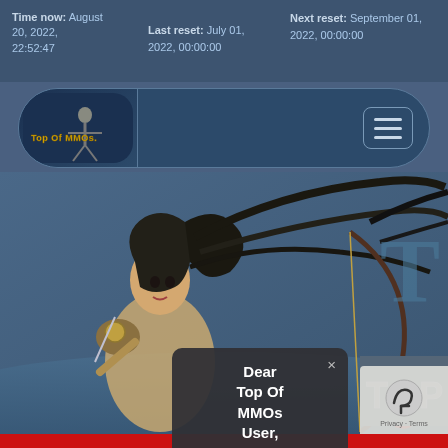Time now: August 20, 2022, 22:52:47   Last reset: July 01, 2022, 00:00:00   Next reset: September 01, 2022, 00:00:00
[Figure (screenshot): Top Of MMOs website navigation bar with logo on left and hamburger menu on right]
[Figure (screenshot): Hero banner image showing a female warrior character with bow and dark feathered accessories against blue background]
Dear Top Of MMOs User, you don't wanna
[Figure (logo): TOP text logo in gray metallic style]
[Figure (screenshot): reCAPTCHA Privacy Terms badge]